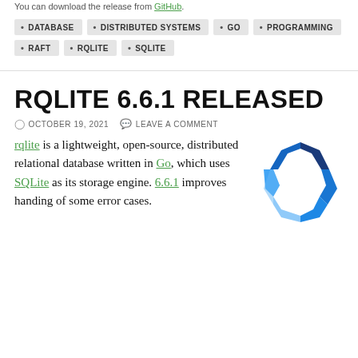You can download the release from GitHub.
DATABASE
DISTRIBUTED SYSTEMS
GO
PROGRAMMING
RAFT
RQLITE
SQLITE
RQLITE 6.6.1 RELEASED
OCTOBER 19, 2021   LEAVE A COMMENT
rqlite is a lightweight, open-source, distributed relational database written in Go, which uses SQLite as its storage engine. 6.6.1 improves handing of some error cases.
[Figure (logo): rqlite logo — blue geometric octagon shape made of overlapping blue polygons with a white octagonal cutout in the center]